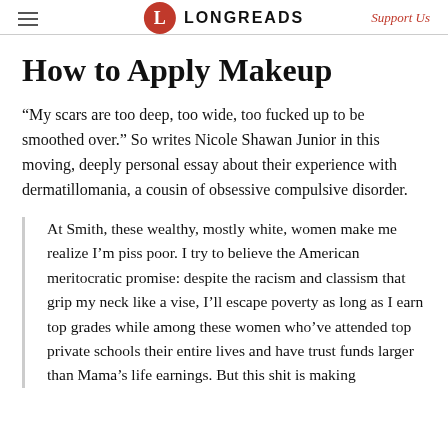LONGREADS | Support Us
How to Apply Makeup
“My scars are too deep, too wide, too fucked up to be smoothed over.” So writes Nicole Shawan Junior in this moving, deeply personal essay about their experience with dermatillomania, a cousin of obsessive compulsive disorder.
At Smith, these wealthy, mostly white, women make me realize I’m piss poor. I try to believe the American meritocratic promise: despite the racism and classism that grip my neck like a vise, I’ll escape poverty as long as I earn top grades while among these women who’ve attended top private schools their entire lives and have trust funds larger than Mama’s life earnings. But this shit is making